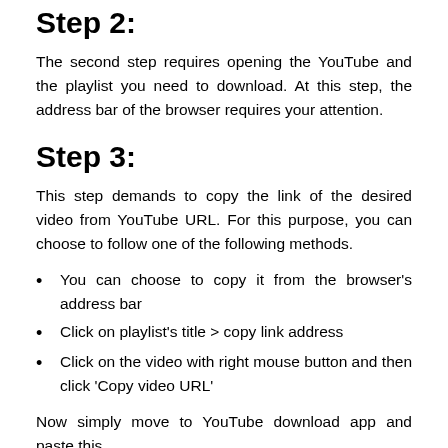Step 2:
The second step requires opening the YouTube and the playlist you need to download. At this step, the address bar of the browser requires your attention.
Step 3:
This step demands to copy the link of the desired video from YouTube URL. For this purpose, you can choose to follow one of the following methods.
You can choose to copy it from the browser's address bar
Click on playlist's title > copy link address
Click on the video with right mouse button and then click 'Copy video URL'
Now simply move to YouTube download app and paste this